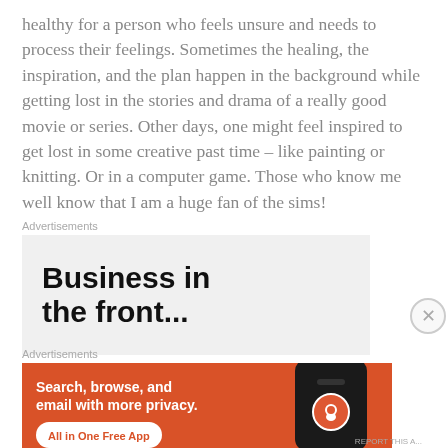healthy for a person who feels unsure and needs to process their feelings. Sometimes the healing, the inspiration, and the plan happen in the background while getting lost in the stories and drama of a really good movie or series. Other days, one might feel inspired to get lost in some creative past time – like painting or knitting. Or in a computer game. Those who know me well know that I am a huge fan of the sims!
Advertisements
[Figure (other): Advertisement box with large bold black text reading 'Business in the front...' on a light gray background]
Advertisements
[Figure (other): DuckDuckGo advertisement on orange/red background with text 'Search, browse, and email with more privacy. All in One Free App' and a phone mockup showing the DuckDuckGo logo]